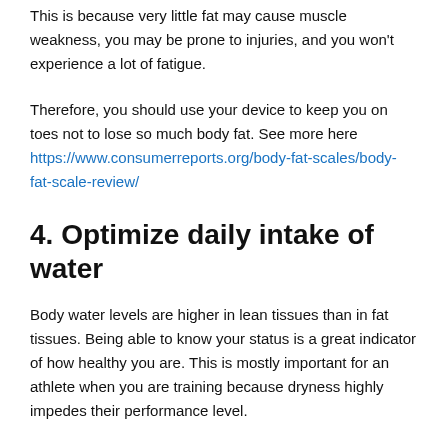This is because very little fat may cause muscle weakness, you may be prone to injuries, and you won't experience a lot of fatigue.
Therefore, you should use your device to keep you on toes not to lose so much body fat. See more here https://www.consumerreports.org/body-fat-scales/body-fat-scale-review/
4. Optimize daily intake of water
Body water levels are higher in lean tissues than in fat tissues. Being able to know your status is a great indicator of how healthy you are. This is mostly important for an athlete when you are training because dryness highly impedes their performance level.